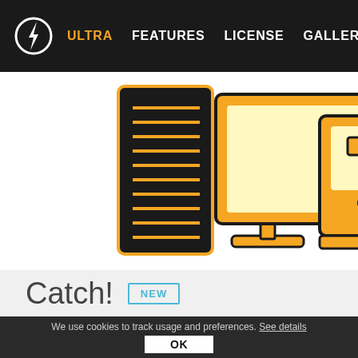ULTRA  FEATURES  LICENSE  GALLERY  AWA
[Figure (illustration): Flat icon illustration showing a server/tower unit (dark background with orange horizontal lines) on the left, a desktop monitor (yellow/light-yellow screen) in the center, and a laptop/tablet device (orange) on the right. All icons have thick orange/black outlines on white background.]
Catch!  NEW
We use cookies to track usage and preferences. See details  OK